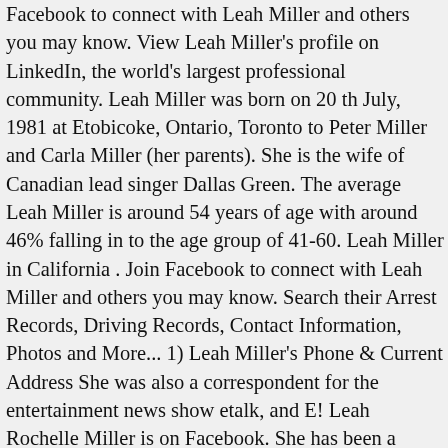Facebook to connect with Leah Miller and others you may know. View Leah Miller's profile on LinkedIn, the world's largest professional community. Leah Miller was born on 20 th July, 1981 at Etobicoke, Ontario, Toronto to Peter Miller and Carla Miller (her parents). She is the wife of Canadian lead singer Dallas Green. The average Leah Miller is around 54 years of age with around 46% falling in to the age group of 41-60. Leah Miller in California . Join Facebook to connect with Leah Miller and others you may know. Search their Arrest Records, Driving Records, Contact Information, Photos and More... 1) Leah Miller's Phone & Current Address She was also a correspondent for the entertainment news show etalk, and E! Leah Rochelle Miller is on Facebook. She has been a television host for So you think you can dance Canada. Entertainment reporter Leah Miller is used to getting the scoop on celebrities as a host for E!, Canada's pop culture channel. Facebook gives people the power to share... We